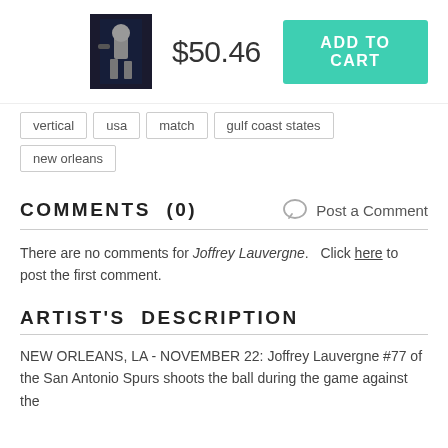[Figure (photo): Small product thumbnail of a basketball player photo]
$50.46
ADD TO CART
vertical
usa
match
gulf coast states
new orleans
COMMENTS  (0)
Post a Comment
There are no comments for Joffrey Lauvergne.   Click here to post the first comment.
ARTIST'S  DESCRIPTION
NEW ORLEANS, LA - NOVEMBER 22: Joffrey Lauvergne #77 of the San Antonio Spurs shoots the ball during the game against the